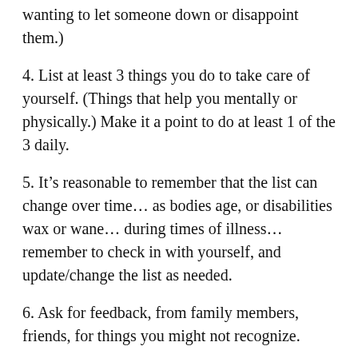wanting to let someone down or disappoint them.)
4. List at least 3 things you do to take care of yourself. (Things that help you mentally or physically.) Make it a point to do at least 1 of the 3 daily.
5. It’s reasonable to remember that the list can change over time… as bodies age, or disabilities wax or wane… during times of illness… remember to check in with yourself, and update/change the list as needed.
6. Ask for feedback, from family members, friends, for things you might not recognize.
7. Practice letting people know, when you are having a harder time, rather than “hiding or covering up” your disability/illness, and how it’s effecting you.